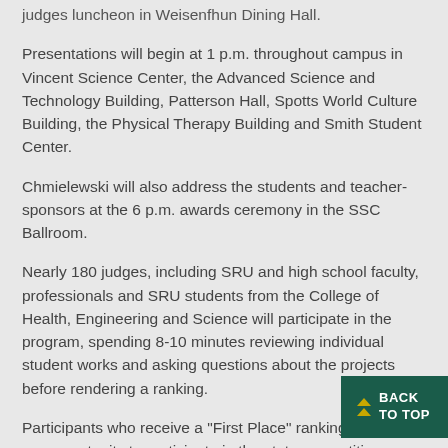judges luncheon in Weisenfhun Dining Hall.
Presentations will begin at 1 p.m. throughout campus in Vincent Science Center, the Advanced Science and Technology Building, Patterson Hall, Spotts World Culture Building, the Physical Therapy Building and Smith Student Center.
Chmielewski will also address the students and teacher-sponsors at the 6 p.m. awards ceremony in the SSC Ballroom.
Nearly 180 judges, including SRU and high school faculty, professionals and SRU students from the College of Health, Engineering and Science will participate in the program, spending 8-10 minutes reviewing individual student works and asking questions about the projects before rendering a ranking.
Participants who receive a "First Place" ranking will have the opportunity to participate in the state competition, which will take place at Penn State University in May.